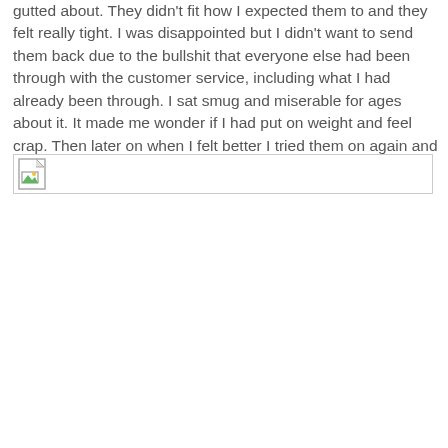gutted about. They didn't fit how I expected them to and they felt really tight. I was disappointed but I didn't want to send them back due to the bullshit that everyone else had been through with the customer service, including what I had already been through. I sat smug and miserable for ages about it. It made me wonder if I had put on weight and feel crap. Then later on when I felt better I tried them on again and they felt better.
[Figure (photo): Broken image placeholder icon with a small torn image icon in the top-left corner of a bordered rectangle]